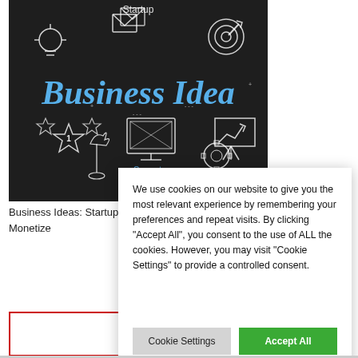[Figure (illustration): Dark chalkboard-style illustration with 'Business Idea' text in blue chalk font, surrounded by hand-drawn icons: lightbulb, envelopes, target/dartboard, stars with number 1, computer monitor, chess piece, gears, presentation board with upward trend arrow, and text 'Computer'. Top reads 'Startup'.]
Business Ideas: Startup Ideas To Monetize
We use cookies on our website to give you the most relevant experience by remembering your preferences and repeat visits. By clicking "Accept All", you consent to the use of ALL the cookies. However, you may visit "Cookie Settings" to provide a controlled consent.